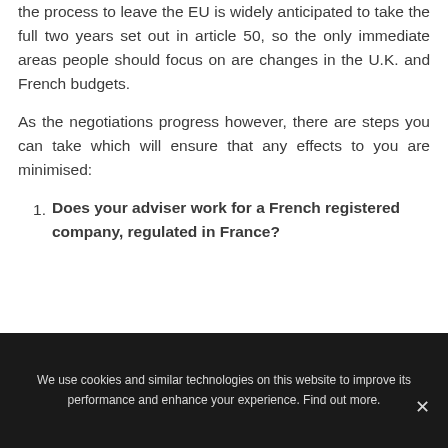Started. First and foremost, I remind my customers that the process to leave the EU is widely anticipated to take the full two years set out in article 50, so the only immediate areas people should focus on are changes in the U.K. and French budgets.
As the negotiations progress however, there are steps you can take which will ensure that any effects to you are minimised:
Does your adviser work for a French registered company, regulated in France?
We use cookies and similar technologies on this website to improve its performance and enhance your experience. Find out more.